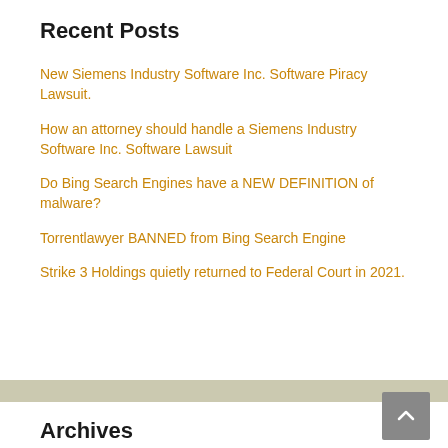Recent Posts
New Siemens Industry Software Inc. Software Piracy Lawsuit.
How an attorney should handle a Siemens Industry Software Inc. Software Lawsuit
Do Bing Search Engines have a NEW DEFINITION of malware?
Torrentlawyer BANNED from Bing Search Engine
Strike 3 Holdings quietly returned to Federal Court in 2021.
Archives